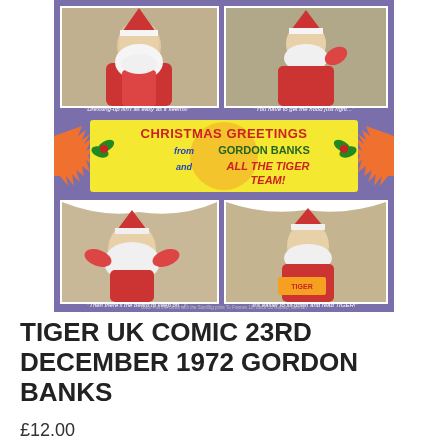[Figure (photo): Scanned page from Tiger UK Comic dated 23rd December 1972, showing Gordon Banks dressed as Santa Claus in four photo panels on a purple background. A Christmas cracker-style banner in the centre reads 'CHRISTMAS GREETINGS from GORDON BANKS and ALL THE TIGER TEAM!' with holly decorations. Top-left caption: 'Dressing-up isn't as easy as it seems!'. Top-right caption: 'You have to get the hood just right...'. Bottom-left caption: 'Then there's the beard to keep on...!'. Bottom-right caption: 'It's easier to sit down and read TIGER!']
TIGER UK COMIC  23RD DECEMBER 1972 GORDON BANKS
£12.00